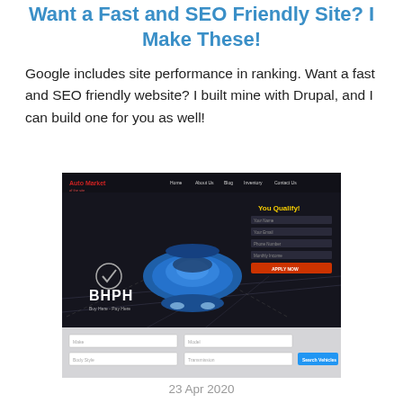Want a Fast and SEO Friendly Site? I Make These!
Google includes site performance in ranking. Want a fast and SEO friendly website? I built mine with Drupal, and I can build one for you as well!
[Figure (screenshot): Screenshot of a car dealership website called Auto Market showing a blue car from above on a dark background with BHPH text and a search form at the bottom]
23 Apr 2020